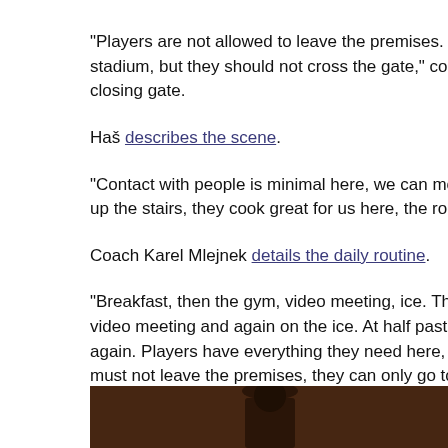“Players are not allowed to leave the premises. They can move around the stadium, but they should not cross the gate,” coach Karel [said while] closing gate.
Haš describes the scene.
“Contact with people is minimal here, we can move freely in [the hotel], up the stairs, they cook great for us here, the rooms are be[autiful].
Coach Karel Mlejnek details the daily routine.
“Breakfast, then the gym, video meeting, ice. Then there i[s lunch,] video meeting and again on the ice. At half past seven, din[ner], and again. Players have everything they need here, there are a[ll amenities], must not leave the premises, they can only go to the fresh [air, but not] behind the gate anymore.”
[Figure (photo): Partial photo strip at bottom of page showing a dark brown/wooden backdrop, partially visible image of a person]